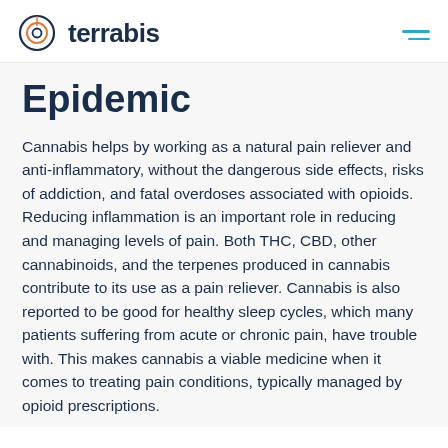terrabis
Epidemic
Cannabis helps by working as a natural pain reliever and anti-inflammatory, without the dangerous side effects, risks of addiction, and fatal overdoses associated with opioids. Reducing inflammation is an important role in reducing and managing levels of pain. Both THC, CBD, other cannabinoids, and the terpenes produced in cannabis contribute to its use as a pain reliever. Cannabis is also reported to be good for healthy sleep cycles, which many patients suffering from acute or chronic pain, have trouble with. This makes cannabis a viable medicine when it comes to treating pain conditions, typically managed by opioid prescriptions.